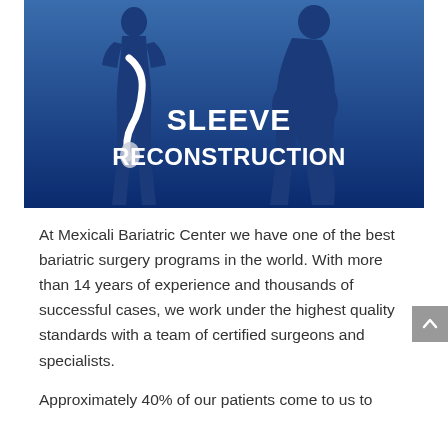[Figure (illustration): Blue gradient background illustration showing two human silhouettes side by side — one slimmer (left) and one heavier (right) — with a white curved line/stomach tube on the left figure. Bold white text reads 'SLEEVE RECONSTRUCTION'.]
At Mexicali Bariatric Center we have one of the best bariatric surgery programs in the world. With more than 14 years of experience and thousands of successful cases, we work under the highest quality standards with a team of certified surgeons and specialists.
Approximately 40% of our patients come to us to